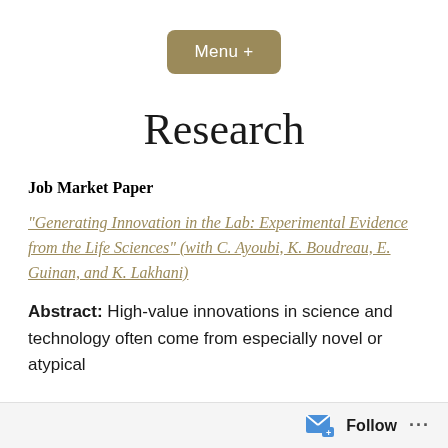[Figure (screenshot): Menu + button with tan/gold rounded rectangle background]
Research
Job Market Paper
“Generating Innovation in the Lab: Experimental Evidence from the Life Sciences” (with C. Ayoubi, K. Boudreau, E. Guinan, and K. Lakhani)
Abstract: High-value innovations in science and technology often come from especially novel or atypical
Follow ...